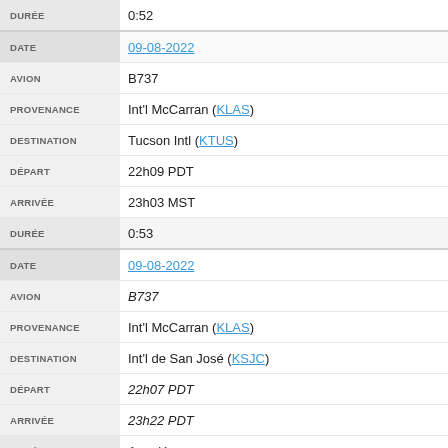| Field | Value |
| --- | --- |
| DURÉE | 0:52 |
| DATE | 09-08-2022 |
| AVION | B737 |
| PROVENANCE | Int'l McCarran (KLAS) |
| DESTINATION | Tucson Intl (KTUS) |
| DÉPART | 22h09 PDT |
| ARRIVÉE | 23h03 MST |
| DURÉE | 0:53 |
| DATE | 09-08-2022 |
| AVION | B737 |
| PROVENANCE | Int'l McCarran (KLAS) |
| DESTINATION | Int'l de San José (KSJC) |
| DÉPART | 22h07 PDT |
| ARRIVÉE | 23h22 PDT |
| DURÉE | Annulé |
| DATE | 09-08-2022 |
| AVION | B737 |
| PROVENANCE | Eppley d'Omaha (KOMA) |
| DESTINATION | Int'l McCarran (KLAS) |
| DÉPART | 20h45 CDT |
| ARRIVÉE | 01h02 PDT |